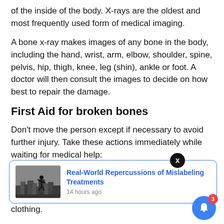of the inside of the body. X-rays are the oldest and most frequently used form of medical imaging.
A bone x-ray makes images of any bone in the body, including the hand, wrist, arm, elbow, shoulder, spine, pelvis, hip, thigh, knee, leg (shin), ankle or foot. A doctor will then consult the images to decide on how best to repair the damage.
First Aid for broken bones
Don't move the person except if necessary to avoid further injury. Take these actions immediately while waiting for medical help:
[Figure (screenshot): Notification popup with blue border showing 'Real-World Repercussions of Mislabeling Treatments' article link with thumbnail image of a person silhouette on a cityscape, posted 14 hours ago. A close X button appears above. A blue bell icon with red badge showing '3' appears at bottom right.]
sterile bandage, a clean cloth or a clean piece of clothing.